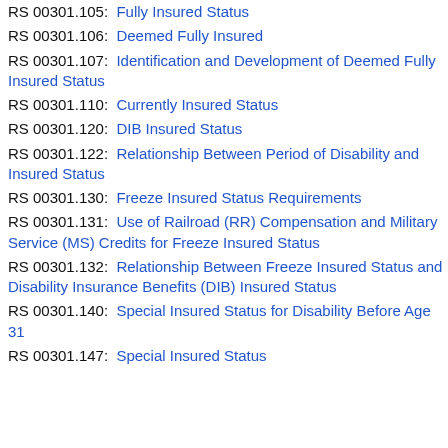RS 00301.105: Fully Insured Status
RS 00301.106: Deemed Fully Insured
RS 00301.107: Identification and Development of Deemed Fully Insured Status
RS 00301.110: Currently Insured Status
RS 00301.120: DIB Insured Status
RS 00301.122: Relationship Between Period of Disability and Insured Status
RS 00301.130: Freeze Insured Status Requirements
RS 00301.131: Use of Railroad (RR) Compensation and Military Service (MS) Credits for Freeze Insured Status
RS 00301.132: Relationship Between Freeze Insured Status and Disability Insurance Benefits (DIB) Insured Status
RS 00301.140: Special Insured Status for Disability Before Age 31
RS 00301.147: Special Insured Status